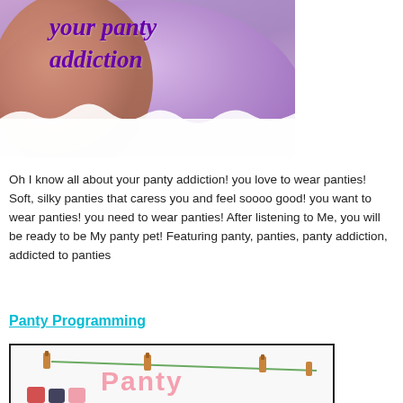[Figure (photo): Photo showing lingerie in lavender/purple satin with white lace, with italic purple text overlay reading 'your panty addiction']
Oh I know all about your panty addiction! you love to wear panties! Soft, silky panties that caress you and feel soooo good! you want to wear panties! you need to wear panties! After listening to Me, you will be ready to be My panty pet! Featuring panty, panties, panty addiction, addicted to panties
Panty Programming
[Figure (photo): Image with black border showing clothespins on a green string/line with pink text 'Panty' and hanging underwear items at the bottom]